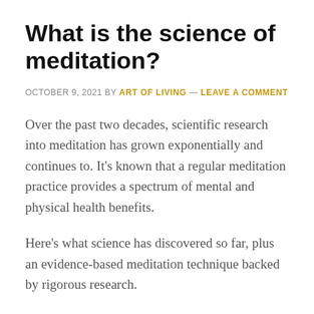What is the science of meditation?
OCTOBER 9, 2021 BY ART OF LIVING — LEAVE A COMMENT
Over the past two decades, scientific research into meditation has grown exponentially and continues to. It's known that a regular meditation practice provides a spectrum of mental and physical health benefits.
Here's what science has discovered so far, plus an evidence-based meditation technique backed by rigorous research.
Studies have shown that meditation serves as a powerful mind-body tool for a diverse range of needs. From anxiety, depression, and stress…